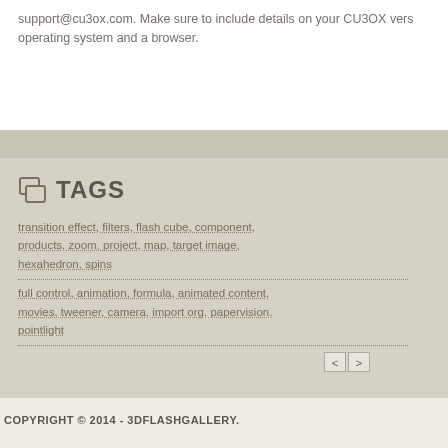support@cu3ox.com. Make sure to include details on your CU3OX version, operating system and a browser.
TAGS
transition effect, filters, flash cube, component, products, zoom, project, map, target image, hexahedron, spins
full control, animation, formula, animated content, movies, tweener, camera, import org, papervision, pointlight
COPYRIGHT © 2014 - 3DFLASHGALLERY.